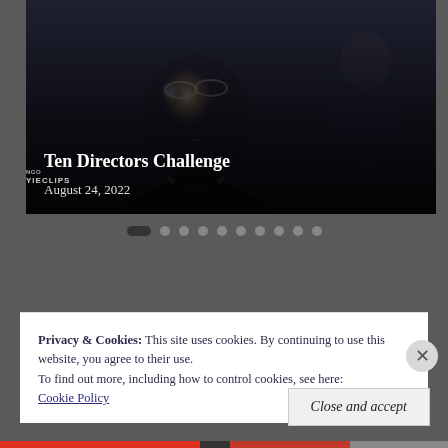[Figure (screenshot): Video thumbnail showing a dark cinematic close-up of a man in a suit with a semi-transparent overlay displaying title and date]
Ten Directors Challenge
August 24, 2022
[Figure (other): Carousel dot pagination with 10 dots, first dot active/pill-shaped]
Privacy & Cookies: This site uses cookies. By continuing to use this website, you agree to their use.
To find out more, including how to control cookies, see here:
Cookie Policy
Close and accept